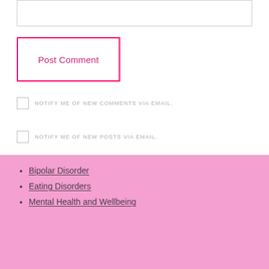[input box / textarea]
Post Comment
NOTIFY ME OF NEW COMMENTS VIA EMAIL.
NOTIFY ME OF NEW POSTS VIA EMAIL.
Bipolar Disorder
Eating Disorders
Mental Health and Wellbeing